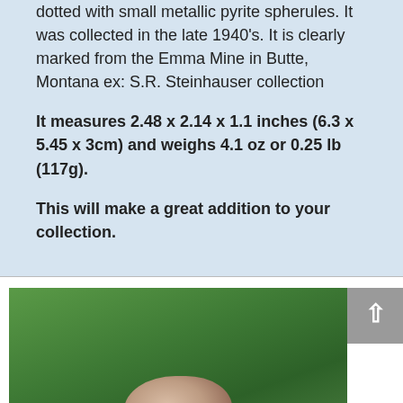dotted with small metallic pyrite spherules. It was collected in the late 1940's. It is clearly marked from the Emma Mine in Butte, Montana ex: S.R. Steinhauser collection
It measures 2.48 x 2.14 x 1.1 inches (6.3 x 5.45 x 3cm) and weighs 4.1 oz or 0.25 lb (117g).
This will make a great addition to your collection.
[Figure (photo): Photo of a mineral specimen (pink/peach colored rock) held in hands, against a green grass background. A grey scroll-to-top button with an upward arrow is visible in the upper right corner.]